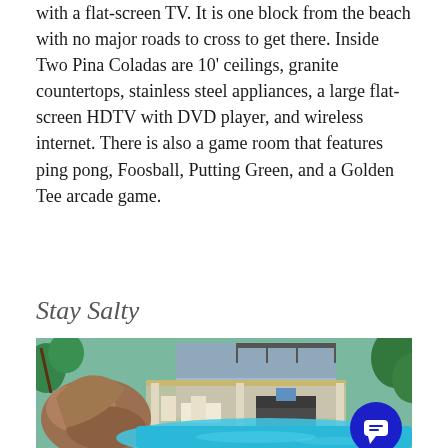with a flat-screen TV. It is one block from the beach with no major roads to cross to get there. Inside Two Pina Coladas are 10' ceilings, granite countertops, stainless steel appliances, a large flat-screen HDTV with DVD player, and wireless internet. There is also a game room that features ping pong, Foosball, Putting Green, and a Golden Tee arcade game.
BOOK TWO PINA COLADAS
Stay Salty
[Figure (photo): Outdoor photo of a vacation rental home showing a pool with tropical landscaping, a rock water feature, blue pool water, covered patio with furniture, and a two-story house in the background. A blue chat bubble icon is visible in the bottom right corner.]